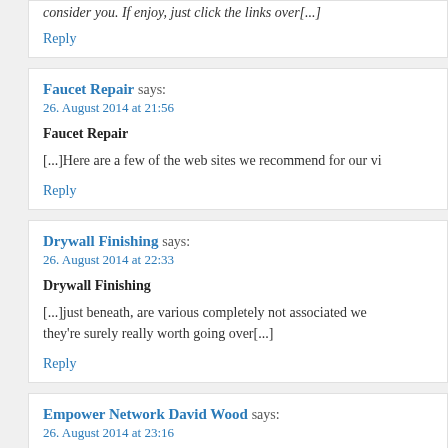consider you. If enjoy, just click the links over[...]
Reply
Faucet Repair says:
26. August 2014 at 21:56
Faucet Repair
[...]Here are a few of the web sites we recommend for our vi
Reply
Drywall Finishing says:
26. August 2014 at 22:33
Drywall Finishing
[...]just beneath, are various completely not associated we they're surely really worth going over[...]
Reply
Empower Network David Wood says:
26. August 2014 at 23:16
easy money
I wish to convey my admiration for your kind-heartedness absolutely need guidance on the subject. Your very own message around appears to be exceptionally advantageo